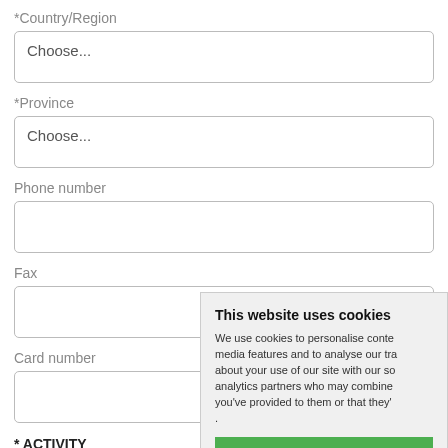*Country/Region
Choose...
*Province
Choose...
Phone number
Fax
Card number
[Figure (screenshot): Cookie consent overlay with title 'This website uses cookies', descriptive text about cookie usage, and three buttons: ALLOW ALL, ALLOW SEL, USE NECESSARY]
* ACTIVITY